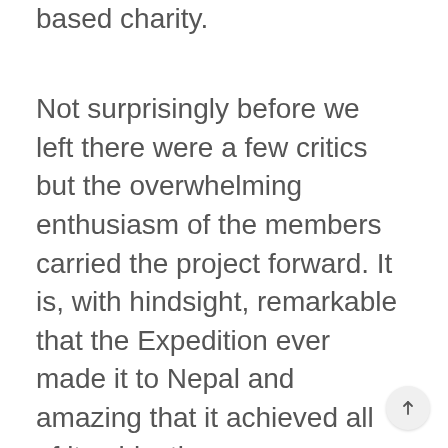based charity.
Not surprisingly before we left there were a few critics but the overwhelming enthusiasm of the members carried the project forward. It is, with hindsight, remarkable that the Expedition ever made it to Nepal and amazing that it achieved all of its objectives.